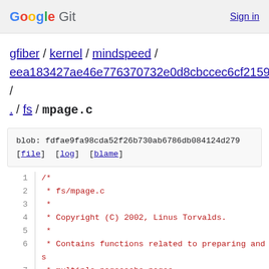Google Git   Sign in
gfiber / kernel / mindspeed / eea183427ae46e776370732e0d8cbccec6cf2159 / . / fs / mpage.c
blob: fdfae9fa98cda52f26b730ab6786db084124d279
[file] [log] [blame]
1   /*
2    * fs/mpage.c
3    *
4    * Copyright (C) 2002, Linus Torvalds.
5    *
6    * Contains functions related to preparing and s
7    * multiple pagecache pages.
8    *
9    * 15May2002      Andrew Morton
10   *                Initial version